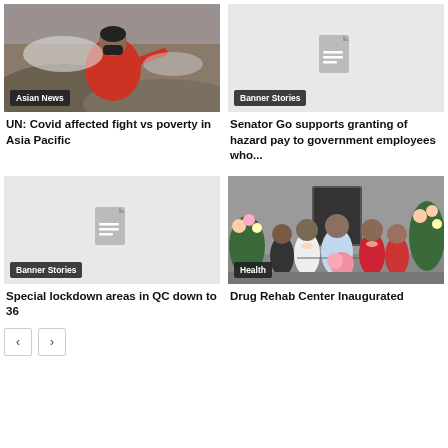[Figure (photo): Person wearing red clothes and black mask crouching near debris/waste outdoors]
Asian News
UN: Covid affected fight vs poverty in Asia Pacific
[Figure (illustration): Generic article placeholder with document icon]
Banner Stories
Senator Go supports granting of hazard pay to government employees who...
[Figure (illustration): Generic article placeholder with document icon]
Banner Stories
Special lockdown areas in QC down to 36
[Figure (photo): Group of people cutting a ribbon at a Drug Rehab Center inauguration, with flowers in the background]
Health
Drug Rehab Center Inaugurated